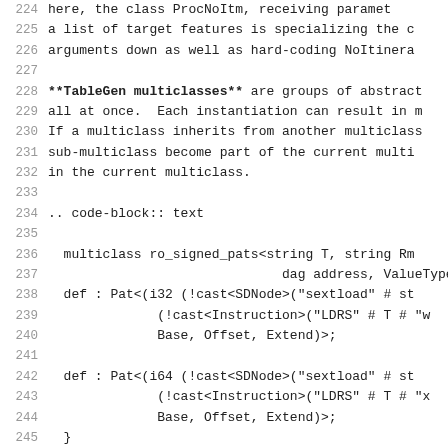224   here, the class ProcNoItm, receiving parameter
225   a list of target features is specializing the c
226   arguments down as well as hard-coding NoItinera
227
228   **TableGen multiclasses** are groups of abstract
229   all at once.  Each instantiation can result in m
230   If a multiclass inherits from another multiclass
231   sub-multiclass become part of the current multi
232   in the current multiclass.
233
234   .. code-block:: text
235
236     multiclass ro_signed_pats<string T, string Rm
237                                dag address, ValueType
238     def : Pat<(i32 (!cast<SDNode>("sextload" # sty
239                 (!cast<Instruction>("LDRS" # T # "w
240                 Base, Offset, Extend)>;
241
242     def : Pat<(i64 (!cast<SDNode>("sextload" # sty
243                 (!cast<Instruction>("LDRS" # T # "x
244                 Base, Offset, Extend)>;
245     }